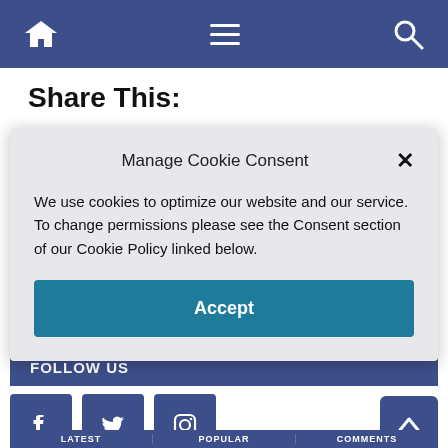Navigation bar with home, menu, and search icons
Share This:
Manage Cookie Consent
We use cookies to optimize our website and our service. To change permissions please see the Consent section of our Cookie Policy linked below.
Accept
FOLLOW US
[Figure (screenshot): Social media icon buttons: Facebook, Twitter, Instagram]
LATEST   POPULAR   COMMENTS